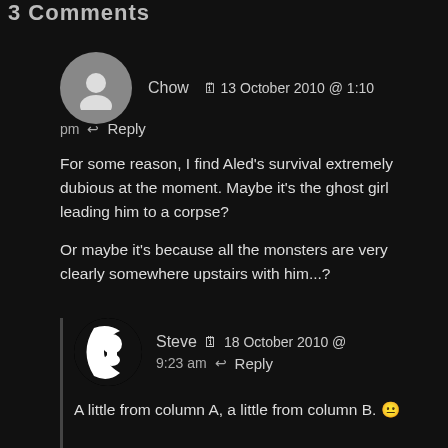3 Comments
Chow  13 October 2010 @ 1:10 pm  Reply
For some reason, I find Aled’s survival extremely dubious at the moment. Maybe it’s the ghost girl leading him to a corpse?

Or maybe it’s because all the monsters are very clearly somewhere upstairs with him…?
Steve  18 October 2010 @  9:23 am  Reply
A little from column A, a little from column B. 😐